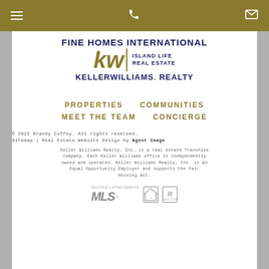Navigation header with hamburger menu, phone icon, and email icon
[Figure (logo): Fine Homes International Keller Williams Island Life Real Estate logo]
PROPERTIES   COMMUNITIES   MEET THE TEAM   CONCIERGE
© 2022 Brandy Coffey. All rights reserved. Sitemap | Real Estate Website Design by Agent Image
Keller Williams Realty, Inc. is a real estate franchise company. Each Keller Williams office is independently owned and operated. Keller Williams Realty, Inc. is an Equal Opportunity Employer and supports the Fair Housing Act.
[Figure (logo): MLS, Equal Housing Opportunity, and Realtor logos]